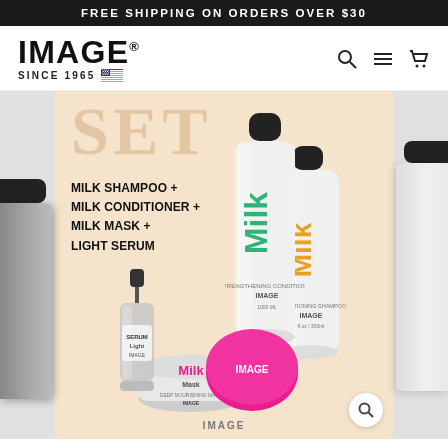FREE SHIPPING ON ORDERS OVER $30
[Figure (logo): IMAGE brand logo with 'SINCE 1965' and US flag]
[Figure (infographic): Product set advertisement showing MILK SHAMPOO + MILK CONDITIONER + MILK MASK + LIGHT SERUM product bottles on beige background with 'SET' text]
MILK SHAMPOO + MILK CONDITIONER + MILK MASK + LIGHT SERUM